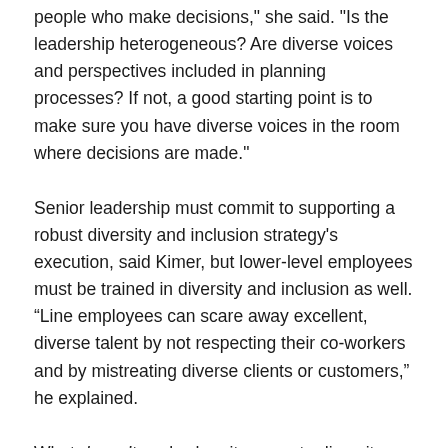people who make decisions," she said. "Is the leadership heterogeneous? Are diverse voices and perspectives included in planning processes? If not, a good starting point is to make sure you have diverse voices in the room where decisions are made."
Senior leadership must commit to supporting a robust diversity and inclusion strategy's execution, said Kimer, but lower-level employees must be trained in diversity and inclusion as well. “Line employees can scare away excellent, diverse talent by not respecting their co-workers and by mistreating diverse clients or customers,” he explained.
What doesn’t work when it comes to diversity, equity and